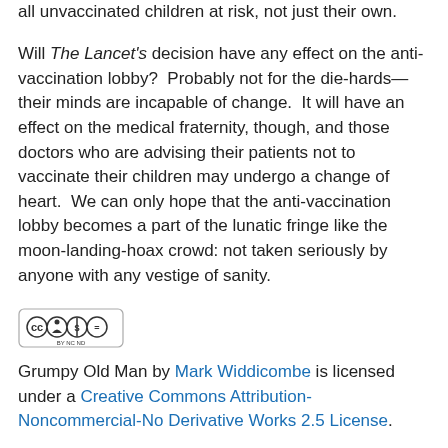all unvaccinated children at risk, not just their own.
Will The Lancet's decision have any effect on the anti-vaccination lobby? Probably not for the die-hards—their minds are incapable of change. It will have an effect on the medical fraternity, though, and those doctors who are advising their patients not to vaccinate their children may undergo a change of heart. We can only hope that the anti-vaccination lobby becomes a part of the lunatic fringe like the moon-landing-hoax crowd: not taken seriously by anyone with any vestige of sanity.
[Figure (logo): Creative Commons BY NC ND license badge]
Grumpy Old Man by Mark Widdicombe is licensed under a Creative Commons Attribution-Noncommercial-No Derivative Works 2.5 License.